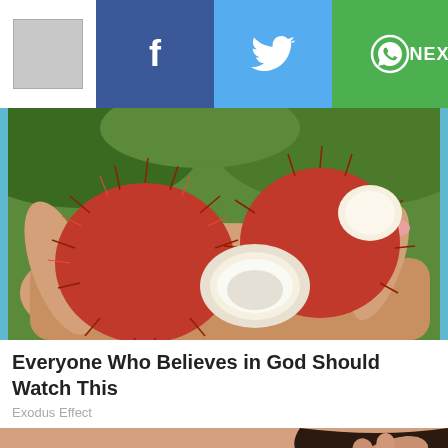[Figure (screenshot): Navigation bar with logo, Facebook, Twitter, WhatsApp share buttons and NEXT arrow button]
[Figure (photo): Close-up photo of rambutan fruits held in a hand, showing red spiky exterior and white interior flesh]
Everyone Who Believes in God Should Watch This
Exodus Effect
[Figure (photo): Partial photo of a woman's face/eyes looking at the camera]